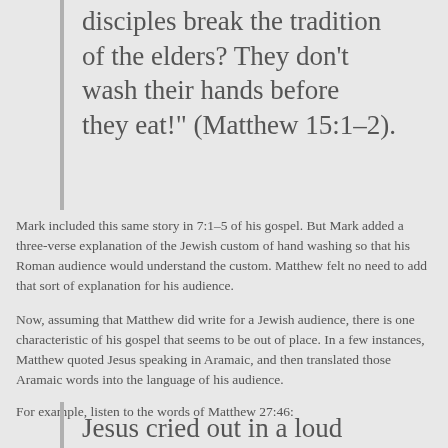disciples break the tradition of the elders? They don’t wash their hands before they eat!” (Matthew 15:1–2).
Mark included this same story in 7:1–5 of his gospel. But Mark added a three-verse explanation of the Jewish custom of hand washing so that his Roman audience would understand the custom. Matthew felt no need to add that sort of explanation for his audience.
Now, assuming that Matthew did write for a Jewish audience, there is one characteristic of his gospel that seems to be out of place. In a few instances, Matthew quoted Jesus speaking in Aramaic, and then translated those Aramaic words into the language of his audience.
For example, listen to the words of Matthew 27:46:
Jesus cried out in a loud